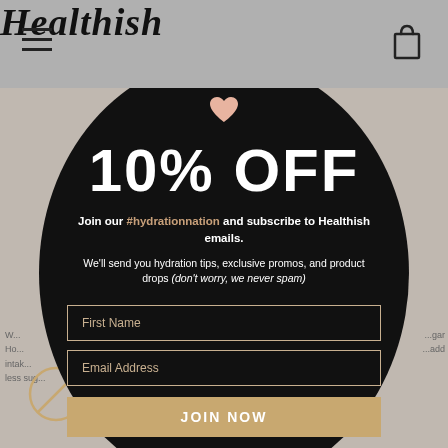Healthish
[Figure (screenshot): Healthish website screenshot showing a popup overlay with a black circular modal offering 10% OFF for joining hydrationnation email list, with First Name and Email Address input fields and a JOIN NOW button. Background shows a grey-toned website with partial text visible.]